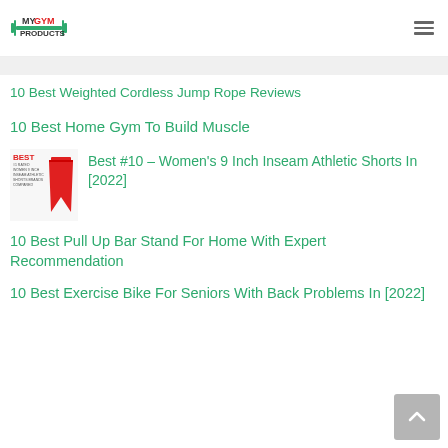MY GYM PRODUCTS
10 Best Weighted Cordless Jump Rope Reviews
10 Best Home Gym To Build Muscle
[Figure (photo): Thumbnail image showing a person wearing red athletic shorts with BEST text overlay]
Best #10 – Women's 9 Inch Inseam Athletic Shorts In [2022]
10 Best Pull Up Bar Stand For Home With Expert Recommendation
10 Best Exercise Bike For Seniors With Back Problems In [2022]